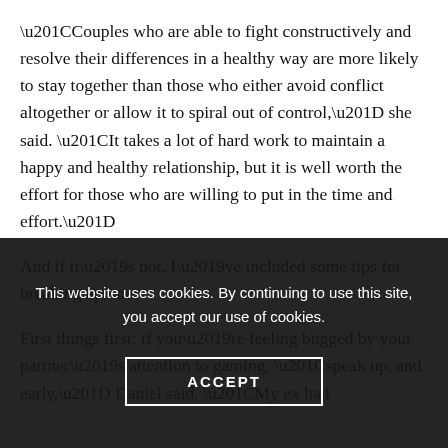“Couples who are able to fight constructively and resolve their differences in a healthy way are more likely to stay together than those who either avoid conflict altogether or allow it to spiral out of control,” she said. “It takes a lot of hard work to maintain a happy and healthy relationship, but it is well worth the effort for those who are willing to put in the time and effort.”
And if it’s not, I’ve included some tips for breaking up, too.
First things first: if you’re feeling bugged by your partner’s attention to gaming, “speak up, and early,” Daniel said. “My ex had
This website uses cookies. By continuing to use this site, you accept our use of cookies.
ACCEPT